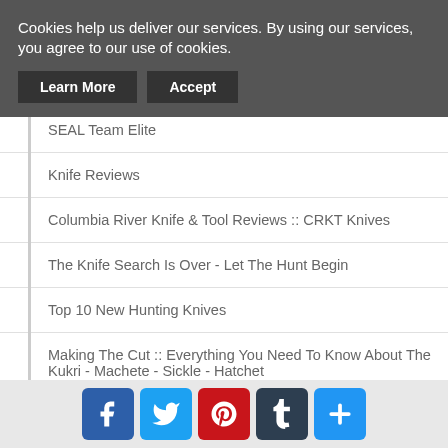Cookies help us deliver our services. By using our services, you agree to our use of cookies.
SEAL Team Elite
Knife Reviews
Columbia River Knife & Tool Reviews :: CRKT Knives
The Knife Search Is Over - Let The Hunt Begin
Top 10 New Hunting Knives
Making The Cut :: Everything You Need To Know About The Kukri - Machete - Sickle - Hatchet
Kukri Buyers Guide
Automatic Knives Review And Comparison
Why You Should Carry A Knife
[Figure (infographic): Social sharing buttons: Facebook, Twitter, Pinterest, Tumblr, and a plus/share button]